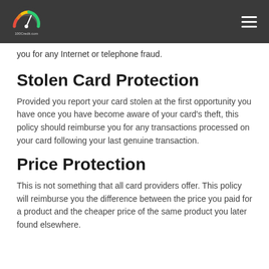100Credit.com
you for any Internet or telephone fraud.
Stolen Card Protection
Provided you report your card stolen at the first opportunity you have once you have become aware of your card's theft, this policy should reimburse you for any transactions processed on your card following your last genuine transaction.
Price Protection
This is not something that all card providers offer. This policy will reimburse you the difference between the price you paid for a product and the cheaper price of the same product you later found elsewhere.